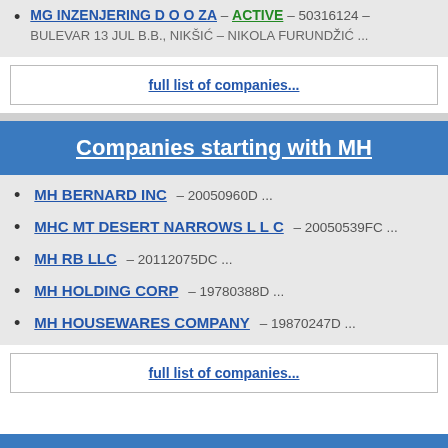MG INZENJERING D O O ZA – ACTIVE – 50316124 – BULEVAR 13 JUL B.B., NIKŠIĆ – NIKOLA FURUNDŽIĆ ...
full list of companies...
Companies starting with MH
MH BERNARD INC – 20050960D ...
MHC MT DESERT NARROWS L L C – 20050539FC ...
MH RB LLC – 20112075DC ...
MH HOLDING CORP – 19780388D ...
MH HOUSEWARES COMPANY – 19870247D ...
full list of companies...